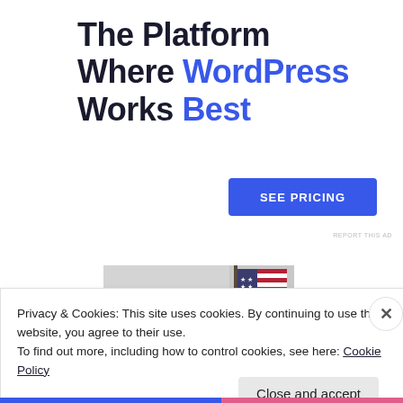The Platform Where WordPress Works Best
SEE PRICING
REPORT THIS AD
[Figure (photo): Photo of an American flag in a room with a grey/white background]
Privacy & Cookies: This site uses cookies. By continuing to use this website, you agree to their use.
To find out more, including how to control cookies, see here: Cookie Policy
Close and accept